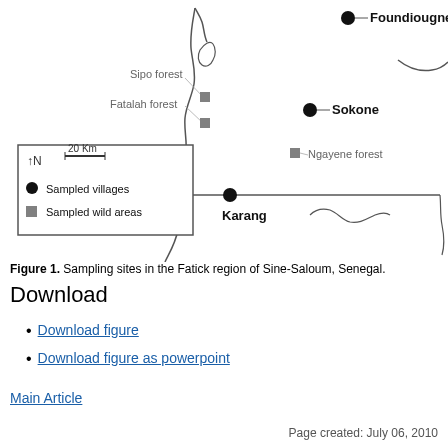[Figure (map): Map of sampling sites in the Fatick region of Sine-Saloum, Senegal. Shows locations of Foundiougne, Sokone, Karang, and Ngayene forest as sampled villages (filled circles) and Sipo forest and Fatalah forest as sampled wild areas (filled squares). A legend box shows north arrow, 20 Km scale bar, and symbols.]
Figure 1. Sampling sites in the Fatick region of Sine-Saloum, Senegal.
Download
Download figure
Download figure as powerpoint
Main Article
Page created: July 06, 2010